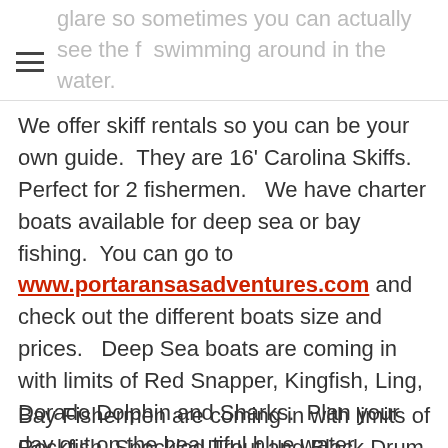glare so sometimes you can actually see the fish swimming around in the water.
We offer skiff rentals so you can be your own guide.  They are 16' Carolina Skiffs. Perfect for 2 fishermen.   We have charter boats available for deep sea or bay fishing.  You can go to www.portaransasadventures.com and check out the different boats size and prices.   Deep Sea boats are coming in with limits of Red Snapper, Kingfish, Ling, Dorado Dolphin and Sharks.  Plan your day out on the beautiful blue water.
Bay Fishermen are coming in with limits of Rockfish, Speckled Trout and Black Drum...